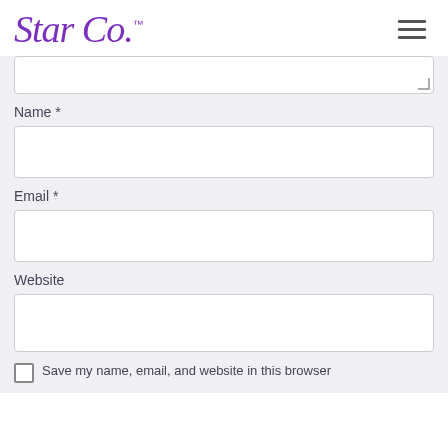Star Co.™
[Figure (screenshot): Partial textarea input field (top of comment box)]
Name *
[Figure (screenshot): Text input field for Name]
Email *
[Figure (screenshot): Text input field for Email]
Website
[Figure (screenshot): Text input field for Website]
Save my name, email, and website in this browser